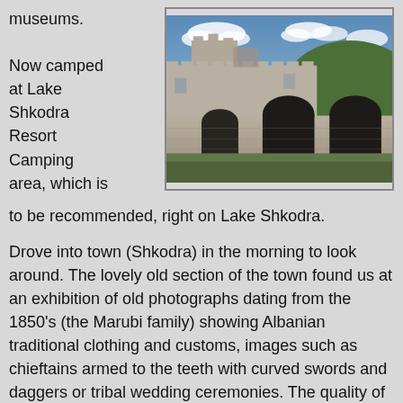museums.
[Figure (photo): Photograph of a large stone castle/fortress with arched openings at the base, set against a blue sky with clouds and green hillside vegetation in the background. The castle walls are made of grey-white stone with battlements visible at the top.]
Now camped at Lake Shkodra Resort Camping area, which is to be recommended, right on Lake Shkodra.
Drove into town (Shkodra) in the morning to look around. The lovely old section of the town found us at an exhibition of old photographs dating from the 1850's (the Marubi family) showing Albanian traditional clothing and customs, images such as chieftains armed to the teeth with curved swords and daggers or tribal wedding ceremonies. The quality of these photo's rival anything we can take on our schmick digital job. See analogue ain't so bad!